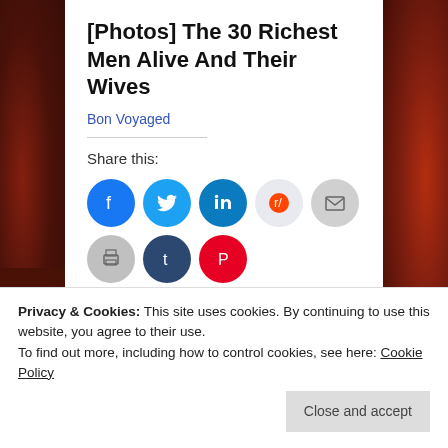[Photos] The 30 Richest Men Alive And Their Wives
Bon Voyaged
Share this:
[Figure (infographic): Row of social media share icon circles: Facebook (blue), Twitter (light blue), LinkedIn (dark blue), Reddit (light gray), Email (gray), Print (gray), Tumblr (dark blue), Pinterest (red), Pocket (pink-red)]
Loading...
Privacy & Cookies: This site uses cookies. By continuing to use this website, you agree to their use.
To find out more, including how to control cookies, see here: Cookie Policy
Close and accept